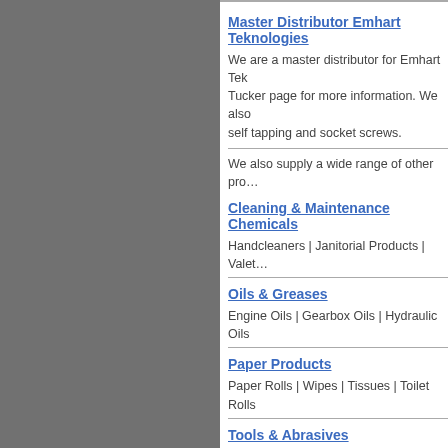Master Distributor Emhart Teknologies
We are a master distributor for Emhart Teknologies (formerly Tucker page for more information. We also supply self tapping and socket screws.
We also supply a wide range of other products including:
Cleaning & Maintenance Chemicals
Handcleaners | Janitorial Products | Valet...
Oils & Greases
Engine Oils | Gearbox Oils | Hydraulic Oils
Paper Products
Paper Rolls | Wipes | Tissues | Toilet Rolls
Tools & Abrasives
A full range of drills, cutting tools & abrasives
Gloves
All cotton, leather, pvc & vinyl gloves